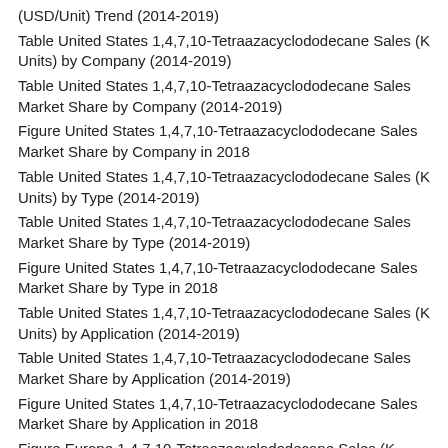(USD/Unit) Trend (2014-2019)
Table United States 1,4,7,10-Tetraazacyclododecane Sales (K Units) by Company (2014-2019)
Table United States 1,4,7,10-Tetraazacyclododecane Sales Market Share by Company (2014-2019)
Figure United States 1,4,7,10-Tetraazacyclododecane Sales Market Share by Company in 2018
Table United States 1,4,7,10-Tetraazacyclododecane Sales (K Units) by Type (2014-2019)
Table United States 1,4,7,10-Tetraazacyclododecane Sales Market Share by Type (2014-2019)
Figure United States 1,4,7,10-Tetraazacyclododecane Sales Market Share by Type in 2018
Table United States 1,4,7,10-Tetraazacyclododecane Sales (K Units) by Application (2014-2019)
Table United States 1,4,7,10-Tetraazacyclododecane Sales Market Share by Application (2014-2019)
Figure United States 1,4,7,10-Tetraazacyclododecane Sales Market Share by Application in 2018
Figure Europe 1,4,7,10-Tetraazacyclododecane Sales (K